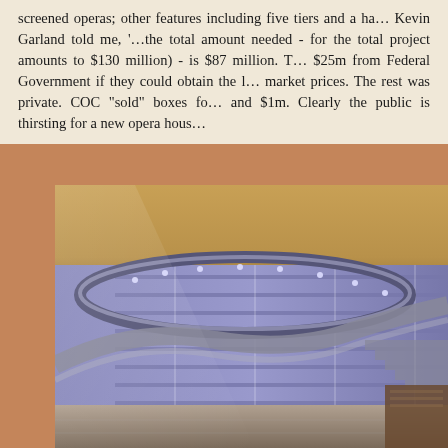screened operas; other features including five tiers and a ha... Kevin Garland told me, '…the total amount needed - for the total project amounts to $130 million) - is $87 million. T... $25m from Federal Government if they could obtain the l... market prices. The rest was private. COC "sold" boxes fo... and $1m. Clearly the public is thirsting for a new opera hous...
[Figure (illustration): Architectural rendering of an opera house interior showing curved balcony tiers, blue/grey walls with horizontal stripes, a reflective floor, and a sweeping staircase design. The image appears to be a 3D computer-generated rendering.]